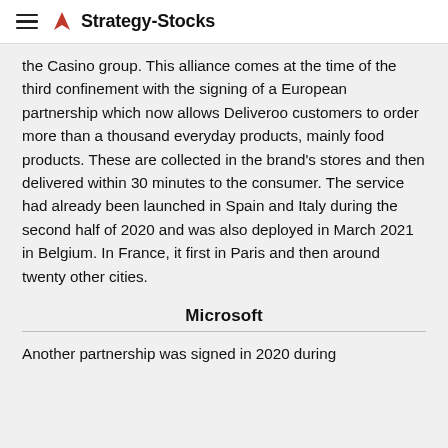Strategy-Stocks
the Casino group. This alliance comes at the time of the third confinement with the signing of a European partnership which now allows Deliveroo customers to order more than a thousand everyday products, mainly food products. These are collected in the brand’s stores and then delivered within 30 minutes to the consumer. The service had already been launched in Spain and Italy during the second half of 2020 and was also deployed in March 2021 in Belgium. In France, it first in Paris and then around twenty other cities.
Microsoft
Another partnership was signed in 2020 during